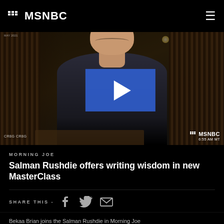MSNBC
[Figure (screenshot): Video thumbnail showing a man (Salman Rushdie) seated in a home library with bookshelves, with a blue play button overlay in the center. MSNBC watermark and time '6:55 AM MT' in lower right. Chyron text in lower left.]
MORNING JOE
Salman Rushdie offers writing wisdom in new MasterClass
SHARE THIS -
Bekaa Brian joins the Salman Rushdie in Morning Joe